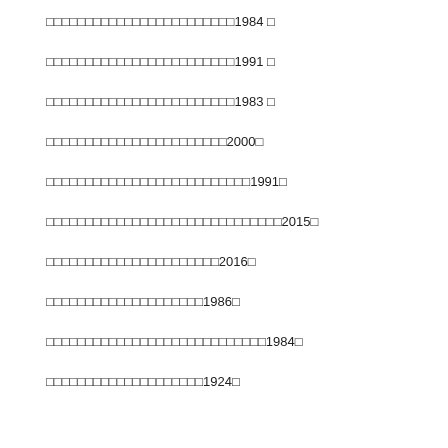□□□□□□□□□□□□□□□□□□□□□□□□1984 □
□□□□□□□□□□□□□□□□□□□□□□□□1991 □
□□□□□□□□□□□□□□□□□□□□□□□□1983 □
□□□□□□□□□□□□□□□□□□□□□□□2000□
□□□□□□□□□□□□□□□□□□□□□□□□□□1991□
□□□□□□□□□□□□□□□□□□□□□□□□□□□□□□2015□
□□□□□□□□□□□□□□□□□□□□□□2016□
□□□□□□□□□□□□□□□□□□□□1986□
□□□□□□□□□□□□□□□□□□□□□□□□□□□□1984□
□□□□□□□□□□□□□□□□□□□□1924□